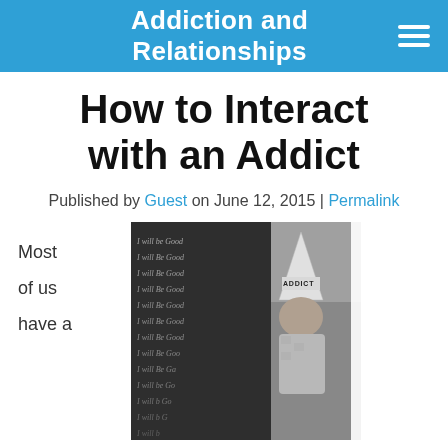Addiction and Relationships
How to Interact with an Addict
Published by Guest on June 12, 2015 | Permalink
Most of us have a
[Figure (photo): Black and white photo of a boy wearing a dunce cap labeled 'ADDICT' standing in front of a chalkboard with 'I will be good' written repeatedly]